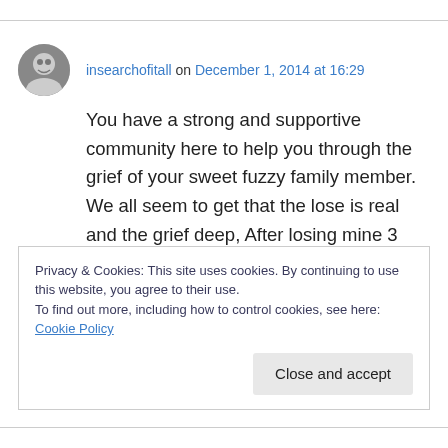insearchofitall on December 1, 2014 at 16:29
You have a strong and supportive community here to help you through the grief of your sweet fuzzy family member. We all seem to get that the lose is real and the grief deep, After losing mine 3 years ago, I haven't been willing to get another dog. Maybe one day. We miss them every day. Hugs to you.
Privacy & Cookies: This site uses cookies. By continuing to use this website, you agree to their use. To find out more, including how to control cookies, see here: Cookie Policy